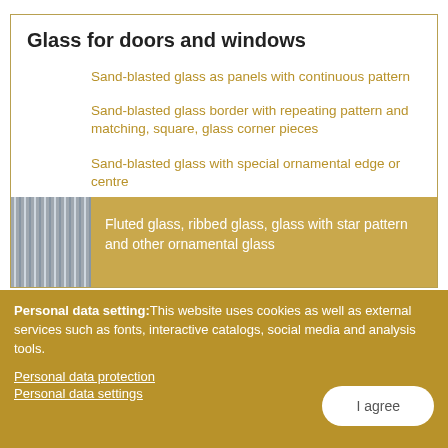Glass for doors and windows
Sand-blasted glass as panels with continuous pattern
Sand-blasted glass border with repeating pattern and matching, square, glass corner pieces
Sand-blasted glass with special ornamental edge or centre
Ground coloured class corner pieces in flashed glass
Fluted glass, ribbed glass, glass with star pattern and other ornamental glass
Personal data setting: This website uses cookies as well as external services such as fonts, interactive catalogs, social media and analysis tools.
Personal data protection
Personal data settings